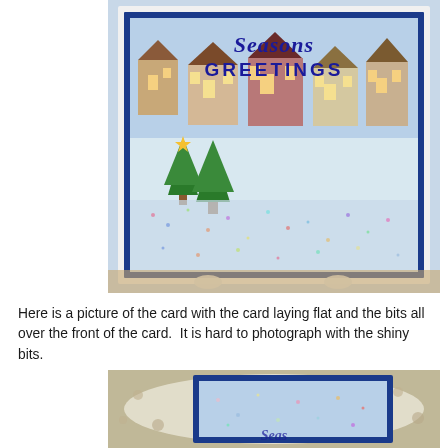[Figure (photo): A handmade Christmas shaker card displayed upright on a card stand. The card features a winter village scene with houses, Christmas trees, and the text 'Seasons Greetings' in blue script and block letters. The card has a blue border and contains glitter and confetti bits inside a clear front panel. The card is photographed on a white doily on a light wooden surface.]
Here is a picture of the card with the card laying flat and the bits all over the front of the card.  It is hard to photograph with the shiny bits.
[Figure (photo): A handmade Christmas shaker card photographed laying flat from above on a white doily. The card has a blue border and a clear front panel showing a winter scene with glitter and confetti bits scattered over the front. Partial text visible at the bottom is partially cut off.]